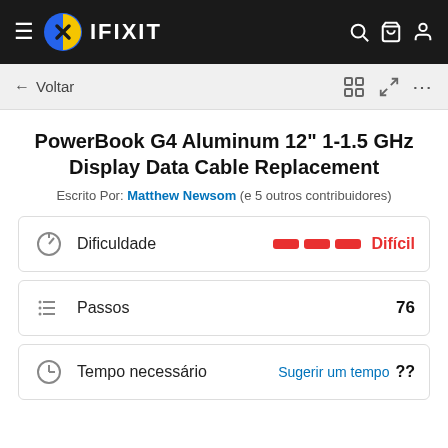IFIXIT
← Voltar
PowerBook G4 Aluminum 12" 1-1.5 GHz Display Data Cable Replacement
Escrito Por: Matthew Newsom (e 5 outros contribuidores)
|  | Label | Value |
| --- | --- | --- |
| Dificuldade icon | Dificuldade | Difícil |
| Passos icon | Passos | 76 |
| Tempo icon | Tempo necessário | Sugerir um tempo ?? |